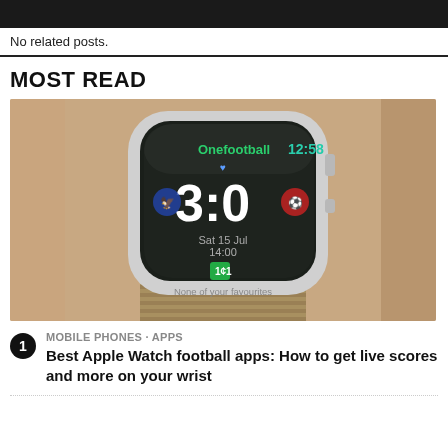No related posts.
MOST READ
[Figure (photo): Close-up photo of an Apple Watch on a wrist showing the Onefootball app with score 3:0 displayed, time 12:58, and text 'Sat 15 Jul 14:00' and 'None of your favourites'. The watch has a silver case and a tan/khaki woven band.]
MOBILE PHONES · APPS
Best Apple Watch football apps: How to get live scores and more on your wrist